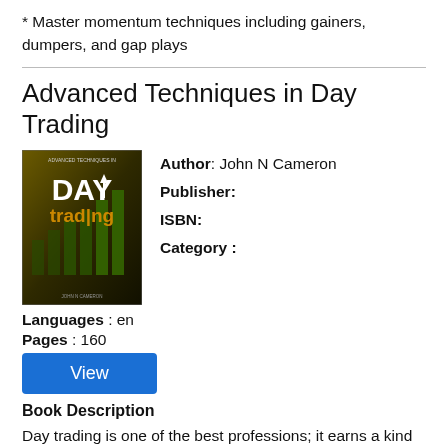* Master momentum techniques including gainers, dumpers, and gap plays
Advanced Techniques in Day Trading
[Figure (illustration): Book cover for 'Advanced Techniques in Day Trading' with dark green/gold background showing 'DAY trading' text and upward arrow chart]
Author: John N Cameron
Publisher:
ISBN:
Category :
Languages : en
Pages : 160
View
Book Description
Day trading is one of the best professions; it earns a kind of profit, making you rich quickly. Everyone wants to make some quick money, but significantly fewer people are